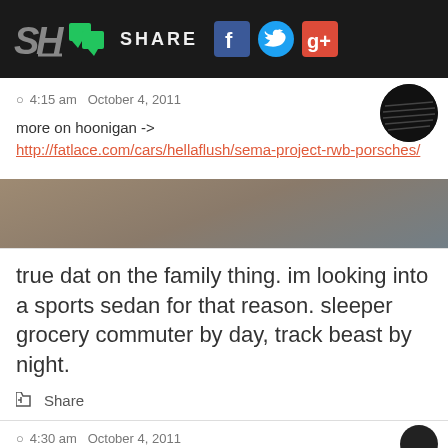SH SHARE [Facebook] [Twitter] [Google+]
4:15 am  October 4, 2011
more on hoonigan ->
http://fatlace.com/cars/hellaflush/sema-project-rwb-porsches/
true dat on the family thing. im looking into a sports sedan for that reason. sleeper grocery commuter by day, track beast by night.
Share
4:30 am  October 4, 2011